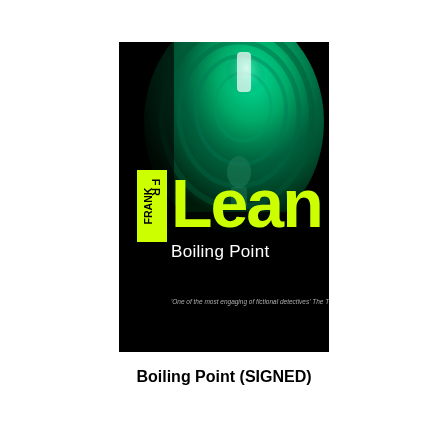[Figure (illustration): Book cover of 'Boiling Point' by Frank Lean. Dark black background with a green-tinted tunnel/tube image. Author name 'FRANK' appears in yellow block letters on the left side. 'Lean' appears in large yellow text. 'Boiling Point' in white text below. A quote at the bottom reads: 'One of the most engaging of fictional detectives' The Times.]
Boiling Point (SIGNED)